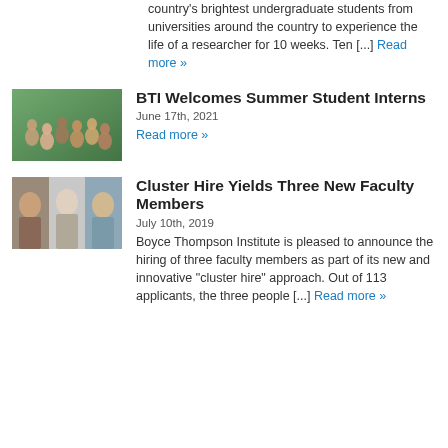country's brightest undergraduate students from universities around the country to experience the life of a researcher for 10 weeks. Ten [...] Read more »
BTI Welcomes Summer Student Interns
June 17th, 2021
Read more »
[Figure (photo): Group photo of summer student interns outdoors in a park setting]
Cluster Hire Yields Three New Faculty Members
July 10th, 2019
Boyce Thompson Institute is pleased to announce the hiring of three faculty members as part of its new and innovative "cluster hire" approach. Out of 113 applicants, the three people [...] Read more »
[Figure (photo): Three faculty member headshots side by side]